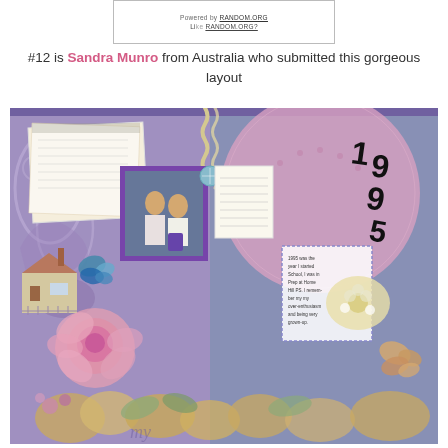[Figure (screenshot): Partial screenshot of RANDOM.ORG widget showing 'Powered by RANDOM.ORG' and 'Like RANDOM.ORG?' text]
#12 is Sandra Munro from Australia who submitted this gorgeous layout
[Figure (photo): Scrapbook layout on purple/lavender background featuring a photo of two children, decorative elements including a large pink circle, year '1995', pink roses, butterflies, a house embellishment, ric-rac ribbon, journaling card, and various paper layers.]